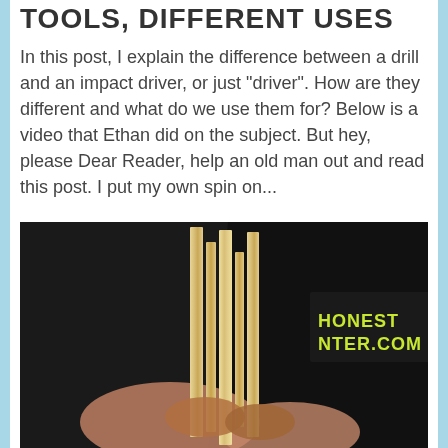TOOLS, DIFFERENT USES
In this post, I explain the difference between a drill and an impact driver, or just "driver". How are they different and what do we use them for? Below is a video that Ethan did on the subject. But hey, please Dear Reader, help an old man out and read this post. I put my own spin on...
[Figure (photo): A person wearing a black t-shirt with 'HONEST NTER.COM' logo in yellow-green text, holding wooden planks/boards vertically with their hands]